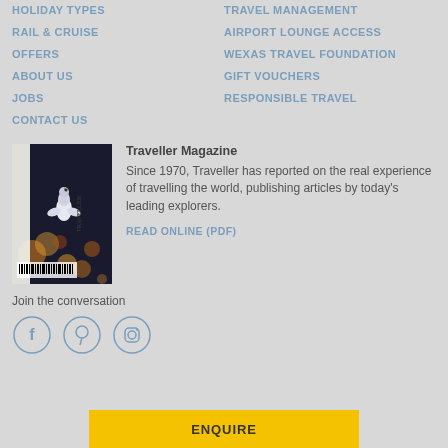HOLIDAY TYPES
TRAVEL MANAGEMENT
RAIL & CRUISE
AIRPORT LOUNGE ACCESS
OFFERS
WEXAS TRAVEL FOUNDATION
ABOUT US
GIFT VOUCHERS
JOBS
RESPONSIBLE TRAVEL
CONTACT US
Traveller Magazine
Since 1970, Traveller has reported on the real experience of travelling the world, publishing articles by today's leading explorers.
READ ONLINE (PDF)
[Figure (photo): Traveller Magazine cover showing a bird with bokeh background]
Join the conversation
[Figure (illustration): Social media icons: Facebook, Pinterest, Instagram]
ENQUIRE